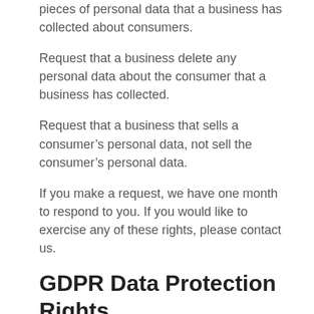pieces of personal data that a business has collected about consumers.
Request that a business delete any personal data about the consumer that a business has collected.
Request that a business that sells a consumer’s personal data, not sell the consumer’s personal data.
If you make a request, we have one month to respond to you. If you would like to exercise any of these rights, please contact us.
GDPR Data Protection Rights
We would like to make sure you are fully aware of all of your data protection rights. Every user is entitled to the following:
The right to access – You have the right to request